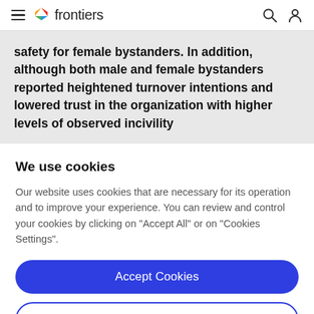frontiers
safety for female bystanders. In addition, although both male and female bystanders reported heightened turnover intentions and lowered trust in the organization with higher levels of observed incivility
We use cookies
Our website uses cookies that are necessary for its operation and to improve your experience. You can review and control your cookies by clicking on "Accept All" or on "Cookies Settings".
Accept Cookies
Cookies Settings